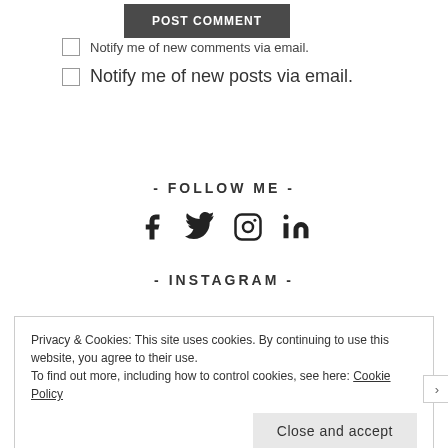POST COMMENT
Notify me of new comments via email.
Notify me of new posts via email.
- FOLLOW ME -
[Figure (infographic): Social media icons: Facebook, Twitter, Instagram, LinkedIn]
- INSTAGRAM -
Privacy & Cookies: This site uses cookies. By continuing to use this website, you agree to their use. To find out more, including how to control cookies, see here: Cookie Policy
Close and accept